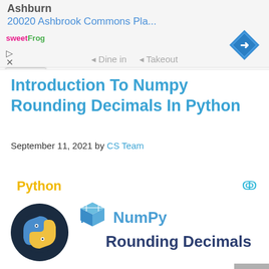[Figure (screenshot): Advertisement banner showing 'Ashburn', '20020 Ashbrook Commons Pla...', sweetFrog logo, navigation arrow diamond icon, play and close buttons, and 'Dine in / Takeout' text at bottom]
Introduction To Numpy Rounding Decimals In Python
September 11, 2021 by CS Team
[Figure (illustration): Python + NumPy Rounding Decimals illustration with Python logo circle, NumPy cube logo, 'Python' label in yellow, 'NumPy' in blue, 'Rounding Decimals' in dark blue, and two code lines: 'array = np.trunc([2.51, -5.66])' and 'array = [ 2. -5.]']